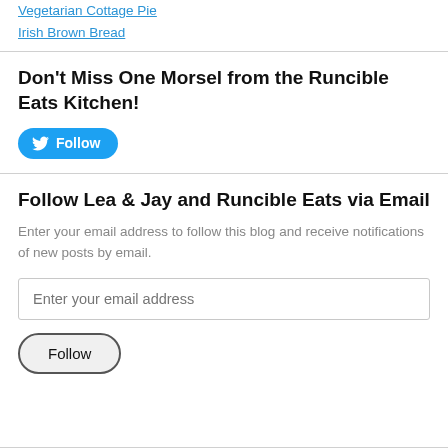Vegetarian Cottage Pie
Irish Brown Bread
Don't Miss One Morsel from the Runcible Eats Kitchen!
Follow (Twitter Follow button)
Follow Lea & Jay and Runcible Eats via Email
Enter your email address to follow this blog and receive notifications of new posts by email.
Enter your email address
Follow